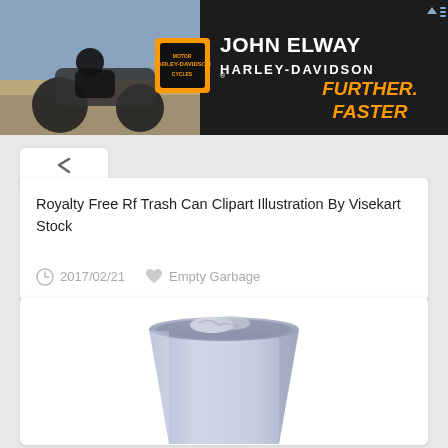[Figure (screenshot): John Elway Harley-Davidson advertisement banner with motorcycle image on left, text 'JOHN ELWAY HARLEY-DAVIDSON' and 'FURTHER. FASTER' on right]
Royalty Free Rf Trash Can Clipart Illustration By Visekart Stock
2017/02/21   Empty Garbage
[Figure (illustration): Clipart illustration of an empty trash can / garbage bin, shown as a trapezoidal shape wider at top, light blue-gray color with some crumpled paper visible inside at the top]